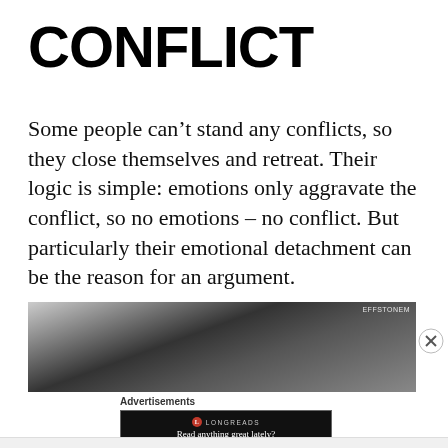CONFLICT
Some people can’t stand any conflicts, so they close themselves and retreat. Their logic is simple: emotions only aggravate the conflict, so no emotions – no conflict. But particularly their emotional detachment can be the reason for an argument.
[Figure (photo): Black and white photograph of a person with dark hair, head partially visible, with a watermark reading EFFSTONEM in the upper right corner.]
Advertisements
[Figure (screenshot): Advertisement box with dark background showing Longreads logo (red circle with L) and text: Read anything great lately?]